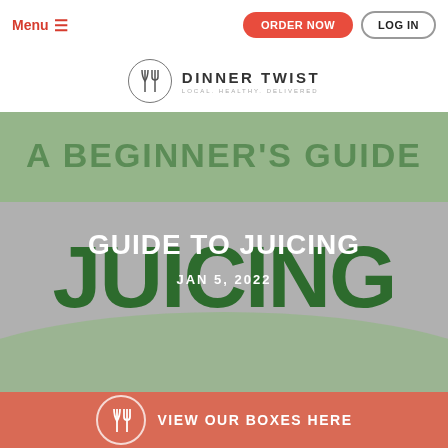Menu  ORDER NOW  LOG IN
[Figure (logo): Dinner Twist logo — fork and knife icon in circle with text DINNER TWIST LOCAL. HEALTHY. DELIVERED]
[Figure (photo): Hero image: A Beginner's Guide to Juicing — decorative text on green and grey background with large hand-lettered JUICING text. Overlaid white text: GUIDE TO JUICING and JAN 5, 2022]
GUIDE TO JUICING
JAN 5, 2022
VIEW OUR BOXES HERE